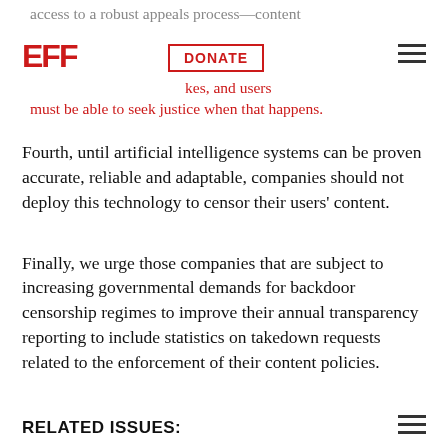access to a robust appeals process—content are bound to make mistakes, and users must be able to seek justice when that happens.
Fourth, until artificial intelligence systems can be proven accurate, reliable and adaptable, companies should not deploy this technology to censor their users' content.
Finally, we urge those companies that are subject to increasing governmental demands for backdoor censorship regimes to improve their annual transparency reporting to include statistics on takedown requests related to the enforcement of their content policies.
RELATED ISSUES: